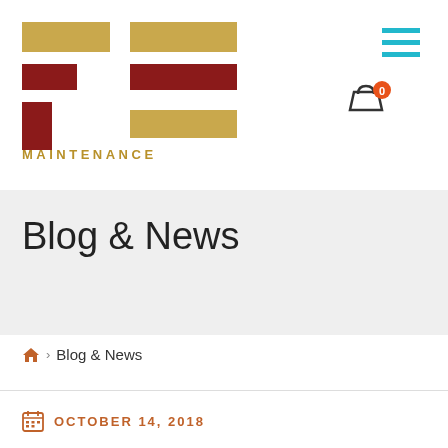[Figure (logo): PE Maintenance logo with geometric squares in dark red/maroon and gold/tan colors arranged in an F-E pattern]
MAINTENANCE
Blog & News
🏠 › Blog & News
OCTOBER 14, 2018